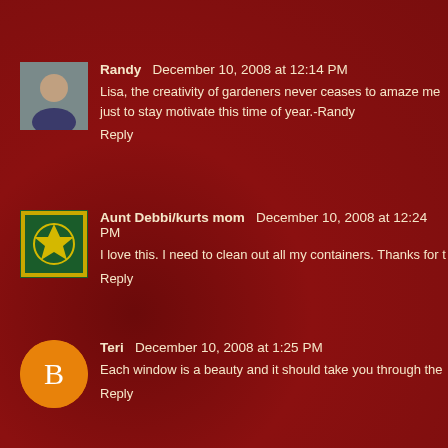Randy December 10, 2008 at 12:14 PM
Lisa, the creativity of gardeners never ceases to amaze me just to stay motivate this time of year.-Randy
Reply
Aunt Debbi/kurts mom December 10, 2008 at 12:24 PM
I love this. I need to clean out all my containers. Thanks for t
Reply
Teri December 10, 2008 at 1:25 PM
Each window is a beauty and it should take you through the
Reply
beckie December 10, 2008 at 1:34 PM
Lisa, you are so artistic! The cedar does just as well as the grass plumes. The container on the front porch just pulls it a
Reply